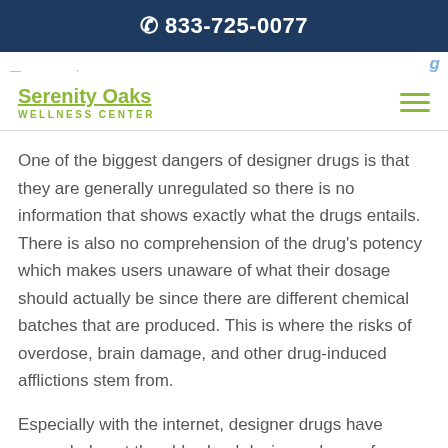☎ 833-725-0077
[Figure (logo): Serenity Oaks Wellness Center logo with green underlined text and hamburger menu icon]
One of the biggest dangers of designer drugs is that they are generally unregulated so there is no information that shows exactly what the drugs entails. There is also no comprehension of the drug's potency which makes users unaware of what their dosage should actually be since there are different chemical batches that are produced. This is where the risks of overdose, brain damage, and other drug-induced afflictions stem from.
Especially with the internet, designer drugs have expanded past the old school designer drugs of